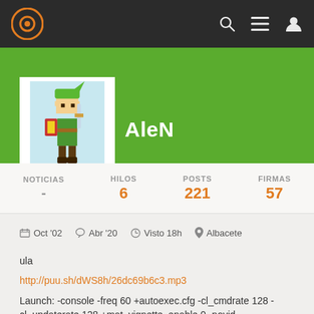[Figure (screenshot): Top navigation bar with logo, search, menu, and user icons on dark background]
[Figure (illustration): User profile header with green background, Link (Zelda) pixel art avatar, and username AleN]
| NOTICIAS | HILOS | POSTS | FIRMAS |
| --- | --- | --- | --- |
| - | 6 | 221 | 57 |
Oct '02  Abr '20  Visto 18h  Albacete
ula
http://puu.sh/dWS8h/26dc69b6c3.mp3
Launch: -console -freq 60 +autoexec.cfg -cl_cmdrate 128 -cl_updaterate 128 +mat_vignette_enable 0 -novid
config: unbindall
bind "0" "slot10"